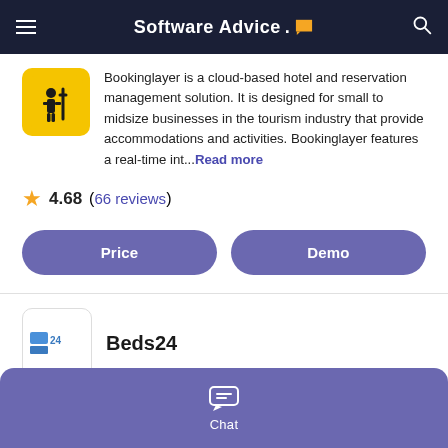Software Advice.
Bookinglayer is a cloud-based hotel and reservation management solution. It is designed for small to midsize businesses in the tourism industry that provide accommodations and activities. Bookinglayer features a real-time int...Read more
4.68 (66 reviews)
Price
Demo
Beds24
Chat